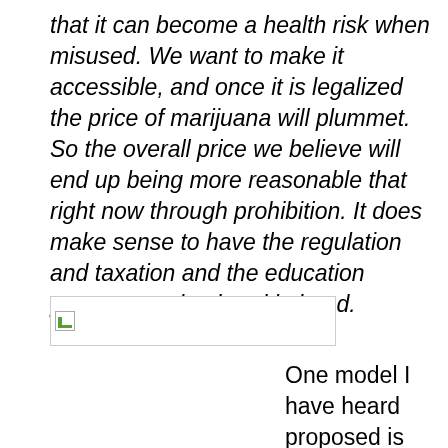that it can become a health risk when misused. We want to make it accessible, and once it is legalized the price of marijuana will plummet. So the overall price we believe will end up being more reasonable that right now through prohibition. It does make sense to have the regulation and taxation and the education programs going hand in hand.
[Figure (other): A placeholder image (broken image icon) with a rectangular border]
One model I have heard proposed is similar to how the wine